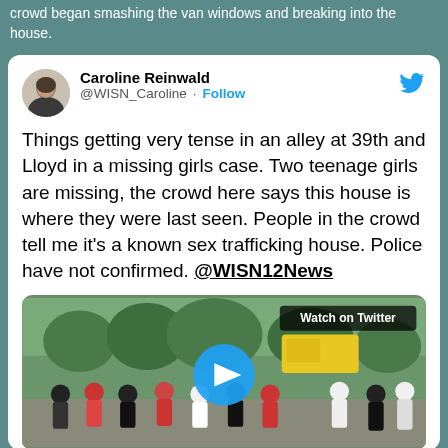crowd began smashing the van windows and breaking into the house.
Caroline Reinwald
@WISN_Caroline · Follow
Things getting very tense in an alley at 39th and Lloyd in a missing girls case. Two teenage girls are missing, the crowd here says this house is where they were last seen. People in the crowd tell me it's a known sex trafficking house. Police have not confirmed. @WISN12News
[Figure (screenshot): Outdoor video thumbnail showing a crowd of people gathered in an alley or lot, with trees and a yellow vehicle visible in the background. A blue play button circle is centered on the image. A 'Watch on Twitter' badge appears in the top right corner.]